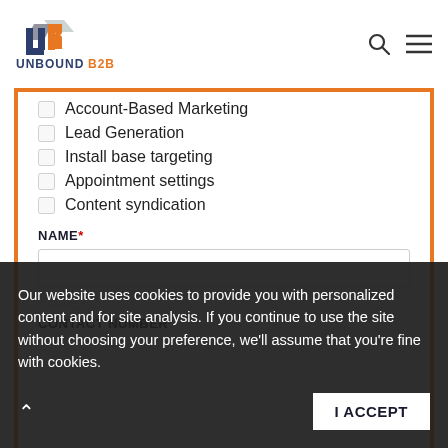[Figure (logo): UnboundB2B logo with stylized UB icon and company name in dark and orange colors]
Account-Based Marketing
Lead Generation
Install base targeting
Appointment settings
Content syndication
NAME*
EMAIL*
CONTACT NUMBER*
Our website uses cookies to provide you with personalized content and for site analysis. If you continue to use the site without choosing your preference, we'll assume that you're fine with cookies.